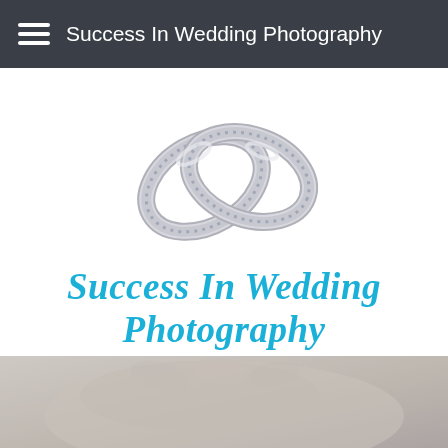Success In Wedding Photography
[Figure (illustration): Two interlinked silver/diamond wedding rings forming a heart-like shape]
Success In Wedding Photography
Discover Elegant Designs, Stylish Wear, Wedding Themes & Ideas.
[Figure (photo): Black and white close-up photo of hands, partially visible at bottom of page]